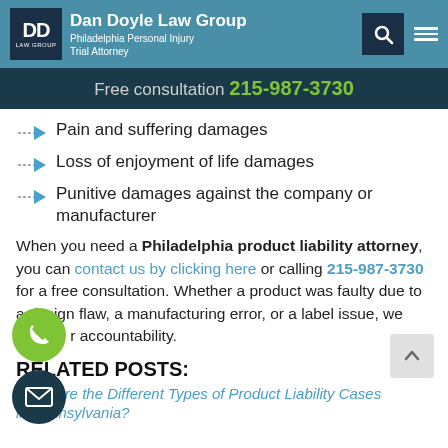Dan Doyle Law Group — Philadelphia Personal Injury Trial Attorney
Free consultation 215-987-3730
Pain and suffering damages
Loss of enjoyment of life damages
Punitive damages against the company or manufacturer
When you need a Philadelphia product liability attorney, you can contact us by clicking here or calling 215-987-3730 for a free consultation. Whether a product was faulty due to a design flaw, a manufacturing error, or a label issue, we strive for accountability.
RELATED POSTS:
What Are the Different Types of Product Liability Cases in Pennsylvania?